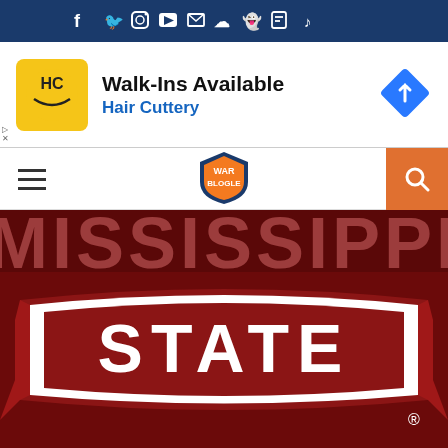Social media icon bar (Facebook, Twitter, Instagram, YouTube, Email, SoundCloud, Snapchat, Twitch, TikTok)
[Figure (infographic): Hair Cuttery advertisement banner: HC logo in yellow square, text 'Walk-Ins Available' and 'Hair Cuttery' in blue, blue diamond navigation arrow on right]
[Figure (logo): War Blogle website navigation bar with hamburger menu, War Blogle logo in center, orange search button on right]
[Figure (logo): Mississippi State Bulldogs logo - large maroon background with 'MISSISSIPPI' text at top and 'STATE' in white on a banner/ribbon graphic, with registered trademark symbol]